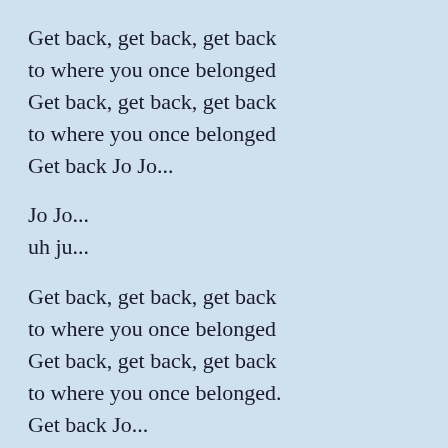Get back, get back, get back
to where you once belonged
Get back, get back, get back
to where you once belonged
Get back Jo Jo...
Jo Jo...
uh ju...
Get back, get back, get back
to where you once belonged
Get back, get back, get back
to where you once belonged.
Get back Jo...
Sweet Lorreta Martin thought she was a woman
But she was another man
All the girls around her said she's got it coming
But she gets it while she can.
Get back, get back, get back
to where you once belonged